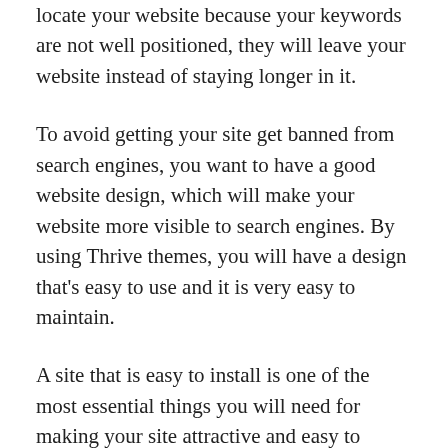locate your website because your keywords are not well positioned, they will leave your website instead of staying longer in it.
To avoid getting your site get banned from search engines, you want to have a good website design, which will make your website more visible to search engines. By using Thrive themes, you will have a design that's easy to use and it is very easy to maintain.
A site that is easy to install is one of the most essential things you will need for making your site attractive and easy to install. You will not need to employ someone who is not an expert to help you install it. Because you will be able to do the installation on your own. It is better if you hire a company that offers installation services